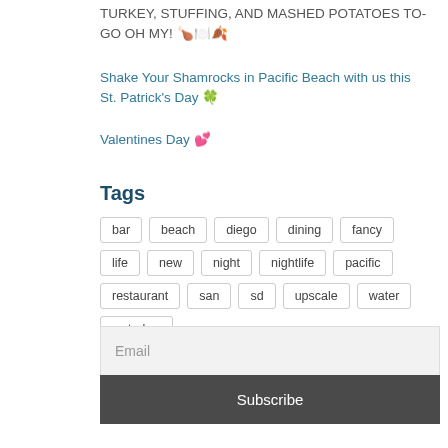TURKEY, STUFFING, AND MASHED POTATOES TO-GO OH MY! 🍗🍽️🍂
Shake Your Shamrocks in Pacific Beach with us this St. Patrick's Day 🍀
Valentines Day 💕
Tags
bar beach diego dining fancy life new night nightlife pacific restaurant san sd upscale water waterbar
Email
Subscribe